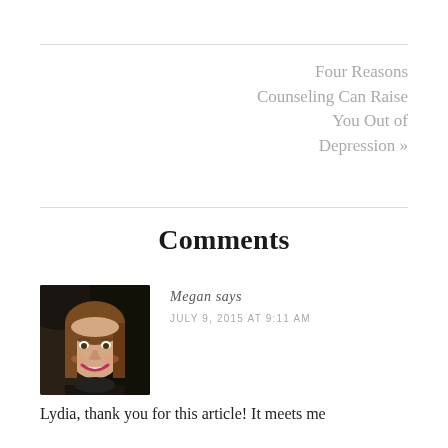Four Reasons Counseling Can Raise You Out of Depression »
Comments
[Figure (photo): Profile photo of a woman with brown hair, smiling]
Megan says
JULY 9, 2015 AT 9:11 AM
Lydia, thank you for this article! It meets me